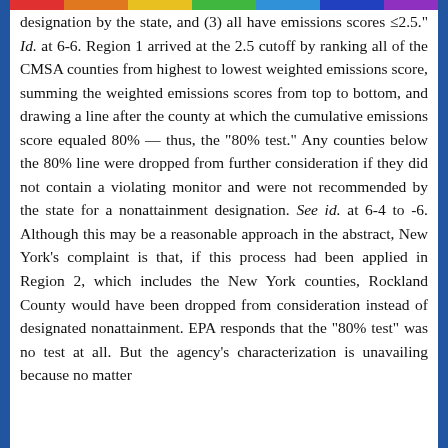designation by the state, and (3) all have emissions scores ≤2.5." Id. at 6-6. Region 1 arrived at the 2.5 cutoff by ranking all of the CMSA counties from highest to lowest weighted emissions score, summing the weighted emissions scores from top to bottom, and drawing a line after the county at which the cumulative emissions score equaled 80% — thus, the "80% test." Any counties below the 80% line were dropped from further consideration if they did not contain a violating monitor and were not recommended by the state for a nonattainment designation. See id. at 6-4 to -6. Although this may be a reasonable approach in the abstract, New York's complaint is that, if this process had been applied in Region 2, which includes the New York counties, Rockland County would have been dropped from consideration instead of designated nonattainment. EPA responds that the "80% test" was no test at all. But the agency's characterization is unavailing because no matter